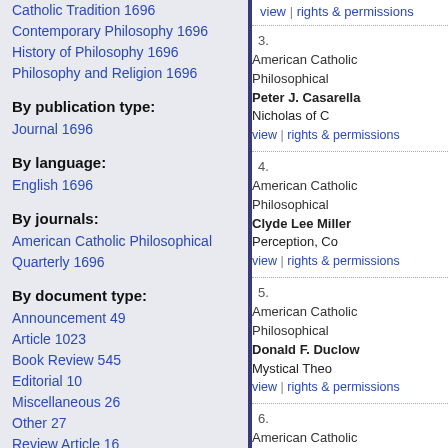Catholic Tradition 1696
Contemporary Philosophy 1696
History of Philosophy 1696
Philosophy and Religion 1696
By publication type:
Journal 1696
By language:
English 1696
By journals:
American Catholic Philosophical Quarterly 1696
By document type:
Announcement 49
Article 1023
Book Review 545
Editorial 10
Miscellaneous 26
Other 27
Review Article 16
view | rights & permissions
3. American Catholic Philosophical ... Peter J. Casarella Nicholas of C... view | rights & permissions
4. American Catholic Philosophical ... Clyde Lee Miller Perception, Co... view | rights & permissions
5. American Catholic Philosophical ... Donald F. Duclow Mystical Theo... view | rights & permissions
6. American Catholic Philosophical ... Theodor Pindl-Büchel The Rela... of Cusa view | rights & permissions
7. American Catholic Philosophical ... Karsten Harries Problems of the... view | rights & permissions
8. American Catholic Philosophical ... Louis Dupré Nature and Grace i... view | rights & permissions
9. American Catholic Philosophical ...